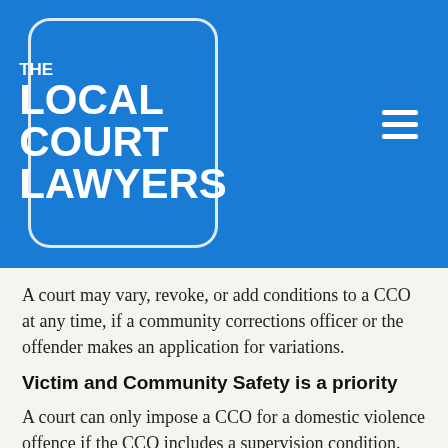[Figure (logo): The Local Court Lawyers logo — white rounded-rectangle border on blue background with white bold text reading THE LOCAL COURT LAWYERS]
A court may vary, revoke, or add conditions to a CCO at any time, if a community corrections officer or the offender makes an application for variations.
Victim and Community Safety is a priority
A court can only impose a CCO for a domestic violence offence if the CCO includes a supervision condition. Other conditions must take into account the safety of the victim/s prior to an order being made.